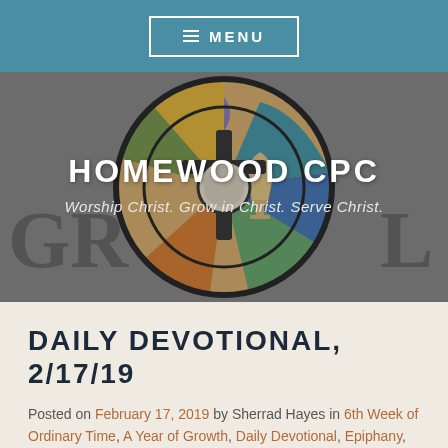≡ MENU
[Figure (illustration): Stained glass window depicting a cross with grapes, bread and colorful segments, with 'HOMEWOOD CPC' title and tagline overlay. Background letters 'GR' on left and 'L' on right visible.]
HOMEWOOD CPC
Worship Christ. Grow in Christ. Serve Christ.
DAILY DEVOTIONAL, 2/17/19
Posted on February 17, 2019 by Sherrad Hayes in 6th Week of Ordinary Time, A Year of Growth, Daily Devotional, Epiphany, Year 1, Year 1, 2018-2019